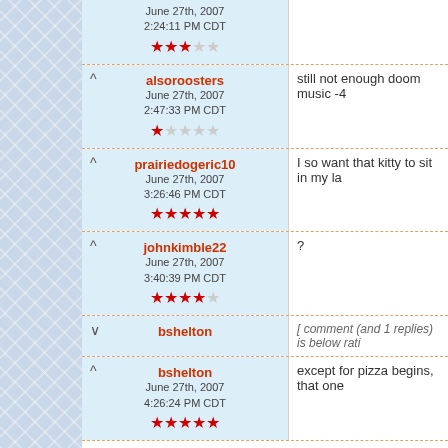alsoroosters, June 27th, 2007 2:47:33 PM CDT, 1 star — still not enough doom music -4
prairiedogeric10, June 27th, 2007 3:26:46 PM CDT, 5 stars — I so want that kitty to sit in my la
johnkimble22, June 27th, 2007 3:40:39 PM CDT, 4 stars — ?
bshelton — [ comment (and 1 replies) is below rati
bshelton, June 27th, 2007 4:26:24 PM CDT, 5 stars — except for pizza begins, that one